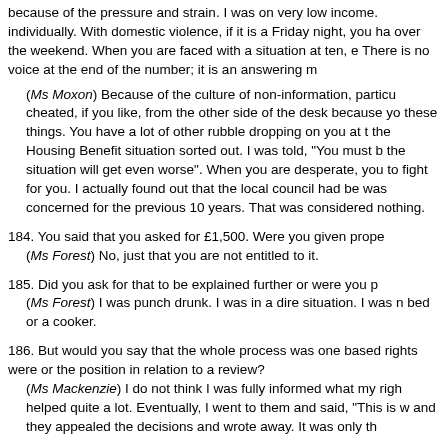because of the pressure and strain. I was on very low income. individually. With domestic violence, if it is a Friday night, you ha over the weekend. When you are faced with a situation at ten, e There is no voice at the end of the number; it is an answering m
(Ms Moxon) Because of the culture of non-information, particu cheated, if you like, from the other side of the desk because yo these things. You have a lot of other rubble dropping on you at t the Housing Benefit situation sorted out. I was told, "You must b the situation will get even worse". When you are desperate, you to fight for you. I actually found out that the local council had be was concerned for the previous 10 years. That was considered nothing.
184. You said that you asked for £1,500. Were you given prope (Ms Forest) No, just that you are not entitled to it.
185. Did you ask for that to be explained further or were you p (Ms Forest) I was punch drunk. I was in a dire situation. I was bed or a cooker.
186. But would you say that the whole process was one based rights were or the position in relation to a review? (Ms Mackenzie) I do not think I was fully informed what my righ helped quite a lot. Eventually, I went to them and said, "This is w and they appealed the decisions and wrote away. It was only th
Ms Buck: Imagine that Archy is your fairy godfather and he is g
Ch
187. What would have been the one single thing, in your situ